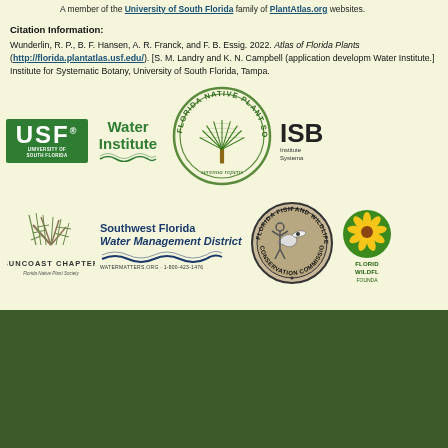A member of the University of South Florida family of PlantAtlas.org websites.
Citation Information:
Wunderlin, R. P., B. F. Hansen, A. R. Franck, and F. B. Essig. 2022. Atlas of Florida Plants (http://florida.plantatlas.usf.edu/). [S. M. Landry and K. N. Campbell (application development), USF Water Institute.] Institute for Systematic Botany, University of South Florida, Tampa.
[Figure (logo): USF University of South Florida logo (green background, white text)]
[Figure (logo): Water Institute logo with stylized wave]
[Figure (logo): Florida Native Plant Society circular logo with Serenoa repens plant]
[Figure (logo): ISB Institute for Systematic Botany logo]
[Figure (logo): Suncoast Chapter Florida Native Plant Society logo with illustrated plant]
[Figure (logo): Southwest Florida Water Management District logo, watermatters.org 1-800-423-1476]
[Figure (logo): Florida Fish and Wildlife Conservation Commission circular badge logo]
[Figure (logo): Florida Wildflower Foundation logo with yellow flower on green]